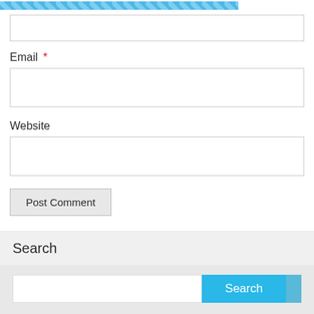[Figure (other): Blue diagonal striped decorative banner at top of page]
(input field - top, partially visible)
Email *
(email input field)
Website
(website input field)
Post Comment
Search
(search input field with Search button)